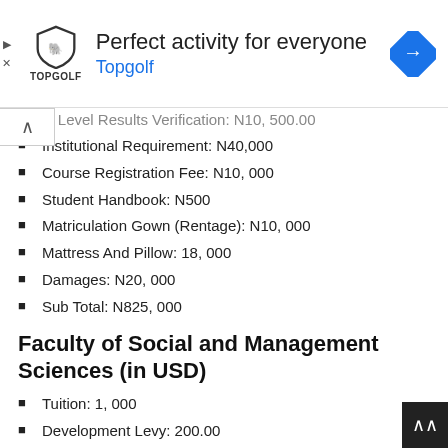[Figure (other): Topgolf advertisement banner with shield logo and blue navigation arrow icon]
O Level Results Verification: N10, 500.00
Institutional Requirement: N40,000
Course Registration Fee: N10, 000
Student Handbook: N500
Matriculation Gown (Rentage): N10, 000
Mattress And Pillow: 18, 000
Damages: N20, 000
Sub Total: N825, 000
Faculty of Social and Management Sciences (in USD)
Tuition: 1, 000
Development Levy: 200.00